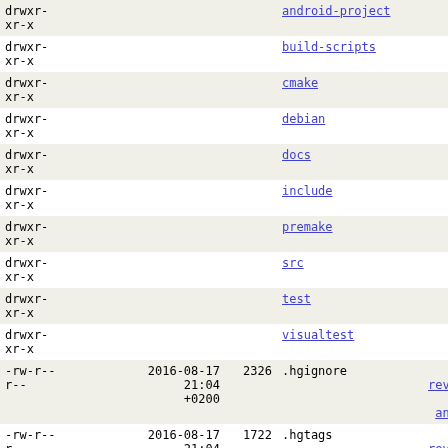| permissions | date | size | name | action |
| --- | --- | --- | --- | --- |
| drwxr-xr-x |  |  | android-project | files |
| drwxr-xr-x |  |  | build-scripts | files |
| drwxr-xr-x |  |  | cmake | files |
| drwxr-xr-x |  |  | debian | files |
| drwxr-xr-x |  |  | docs | files |
| drwxr-xr-x |  |  | include | files |
| drwxr-xr-x |  |  | premake | files |
| drwxr-xr-x |  |  | src | files |
| drwxr-xr-x |  |  | test | files |
| drwxr-xr-x |  |  | visualtest | files |
| -rw-r--r-- | 2016-08-17 21:04 +0200 | 2326 | .hgignore | file | revisions | annotate |
| -rw-r--r-- | 2016-08-17 21:04 +0200 | 1722 | .hgtags | file | revisions | annotate |
| -rwxr-xr-x | 2016-08-17 21:04 +0200 | 2186 | Android.mk | file | revisions | annotate |